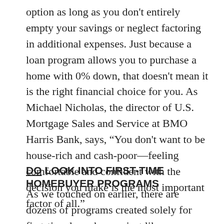option as long as you don't entirely empty your savings or neglect factoring in additional expenses. Just because a loan program allows you to purchase a home with 0% down, that doesn't mean it is the right financial choice for you. As Michael Nicholas, the director of U.S. Mortgage Sales and Service at BMO Harris Bank, says, “You don't want to be house-rich and cash-poor—feeling comfortable and confident with the decision you make is the most important factor of all.”
DO LOOK INTO FIRST-TIME HOMEBUYER PROGRAMS
As we touched on earlier, there are dozens of programs created solely for first-time homebuyers just like you. There is no need to